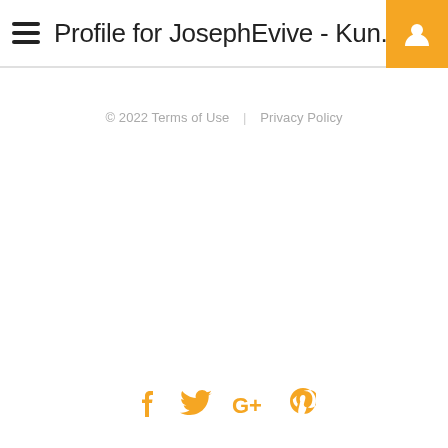Profile for JosephEvive - Kun...
© 2022 Terms of Use  |  Privacy Policy
[Figure (illustration): Social media icons: Facebook (f), Twitter (bird), Google+ (G+), Pinterest (p) in orange/yellow color]